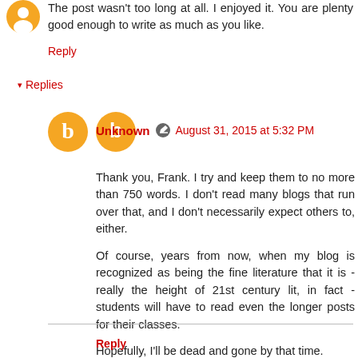The post wasn't too long at all. I enjoyed it. You are plenty good enough to write as much as you like.
Reply
▾ Replies
Unknown  August 31, 2015 at 5:32 PM
Thank you, Frank. I try and keep them to no more than 750 words. I don't read many blogs that run over that, and I don't necessarily expect others to, either.
Of course, years from now, when my blog is recognized as being the fine literature that it is - really the height of 21st century lit, in fact - students will have to read even the longer posts for their classes.
Hopefully, I'll be dead and gone by that time.
Reply